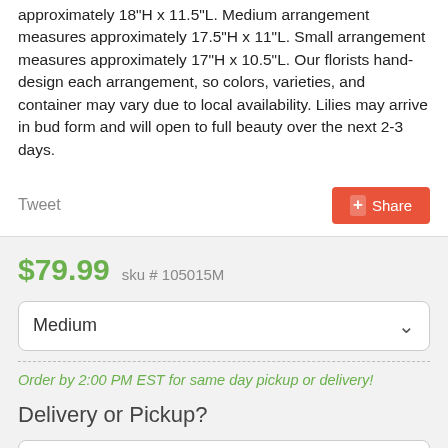approximately 18"H x 11.5"L. Medium arrangement measures approximately 17.5"H x 11"L. Small arrangement measures approximately 17"H x 10.5"L. Our florists hand-design each arrangement, so colors, varieties, and container may vary due to local availability. Lilies may arrive in bud form and will open to full beauty over the next 2-3 days.
Tweet
Share
$79.99   sku # 105015M
Medium
Order by 2:00 PM EST for same day pickup or delivery!
Delivery or Pickup?
Select an Option